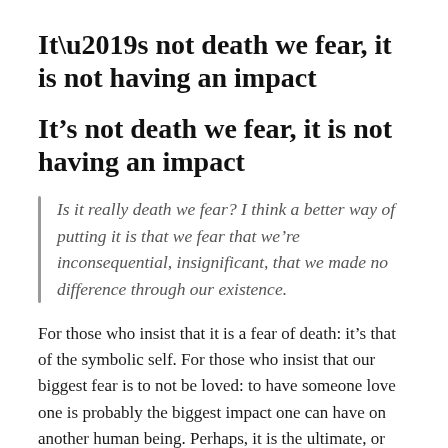It’s not death we fear, it is not having an impact
Is it really death we fear? I think a better way of putting it is that we fear that we’re inconsequential, insignificant, that we made no difference through our existence.
For those who insist that it is a fear of death: it’s that of the symbolic self. For those who insist that our biggest fear is to not be loved: to have someone love one is probably the biggest impact one can have on another human being. Perhaps, it is the ultimate, or the one that really count. I am not sure. However, my point remains: it is about impact.